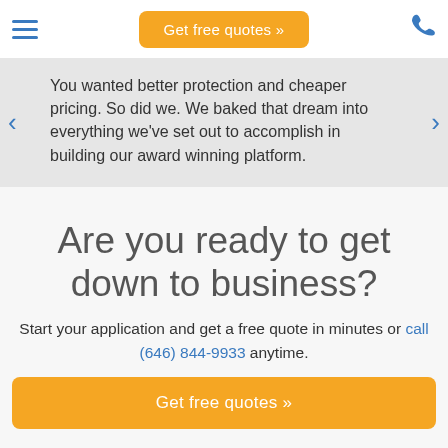Get free quotes »
You wanted better protection and cheaper pricing. So did we. We baked that dream into everything we've set out to accomplish in building our award winning platform.
Are you ready to get down to business?
Start your application and get a free quote in minutes or call (646) 844-9933 anytime.
Get free quotes »